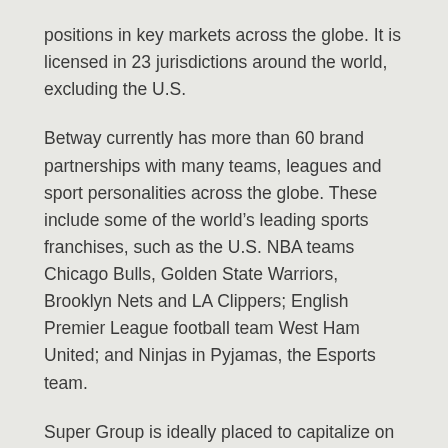positions in key markets across the globe. It is licensed in 23 jurisdictions around the world, excluding the U.S.
Betway currently has more than 60 brand partnerships with many teams, leagues and sport personalities across the globe. These include some of the world's leading sports franchises, such as the U.S. NBA teams Chicago Bulls, Golden State Warriors, Brooklyn Nets and LA Clippers; English Premier League football team West Ham United; and Ninjas in Pyjamas, the Esports team.
Super Group is ideally placed to capitalize on the forecast growth in the global online betting and gaming market, which is expected to exceed $100 billion by 2025, according to H2 Capital.